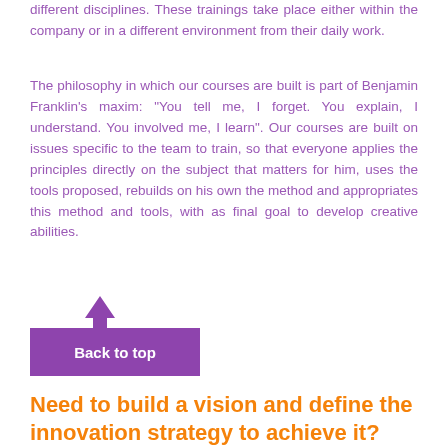different disciplines. These trainings take place either within the company or in a different environment from their daily work.
The philosophy in which our courses are built is part of Benjamin Franklin's maxim: "You tell me, I forget. You explain, I understand. You involved me, I learn". Our courses are built on issues specific to the team to train, so that everyone applies the principles directly on the subject that matters for him, uses the tools proposed, rebuilds on his own the method and appropriates this method and tools, with as final goal to develop creative abilities.
[Figure (other): Purple 'Back to top' button with an upward arrow above it]
Need to build a vision and define the innovation strategy to achieve it?